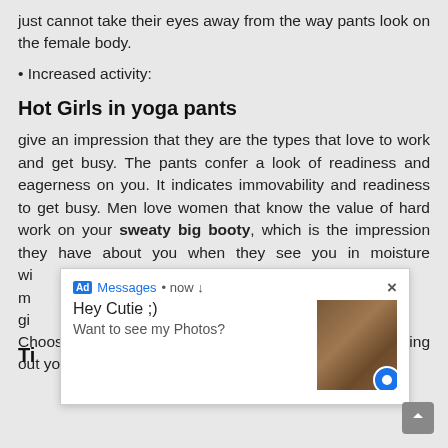man only needs to go for a pair of yoga pants. Men just cannot take their eyes away from the way pants look on the female body.
• Increased activity:
Hot Girls in yoga pants
give an impression that they are the types that love to work and get busy. The pants confer a look of readiness and eagerness on you. It indicates immovability and readiness to get busy. Men love women that know the value of hard work on your sweaty big booty, which is the impression they have about you when they see you in moisture wi... ost m... ven gi...
Ti...
Choosing the best yoga pants is as important as carrying out yoga moves. Bear in mind that pants are
[Figure (screenshot): Ad overlay notification popup with 'Messages • now' header, close button (×), text 'Hey Cutie ;) Want to see my Photos?' and a thumbnail image]